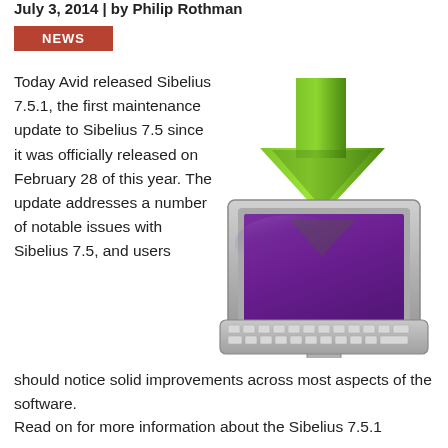July 3, 2014 | by Philip Rothman
NEWS
Today Avid released Sibelius 7.5.1, the first maintenance update to Sibelius 7.5 since it was officially released on February 28 of this year. The update addresses a number of notable issues with Sibelius 7.5, and users should notice solid improvements across most aspects of the software.
[Figure (illustration): Illustration of a desktop computer monitor with a purple/violet screen and a green downward-pointing arrow above it indicating a software download, with a keyboard below]
Read on for more information about the Sibelius 7.5.1